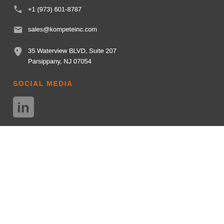+1 (973) 601-8787
sales@kompeteinc.com
35 Waterview BLVD, Suite 207
Parsippany, NJ 07054
SOCIAL MEDIA
[Figure (logo): LinkedIn 'in' icon in grey]
[Figure (logo): Kompete logo with figure and text 'Enabling Intelligent Solutions' and tagline 'A Korcomptenz Group of Companies']
[Figure (logo): Korcomptenz logo with teal X mark and black bold text]